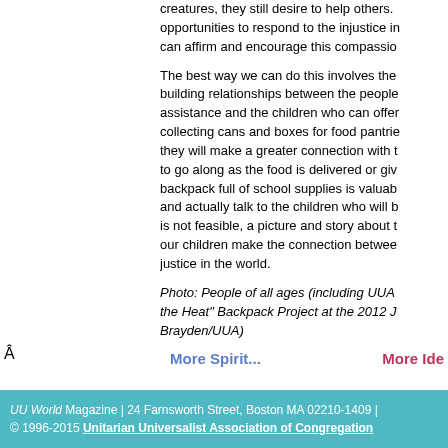creatures, they still desire to help others. opportunities to respond to the injustice in can affirm and encourage this compassio
The best way we can do this involves the building relationships between the people assistance and the children who can offer collecting cans and boxes for food pantrie they will make a greater connection with t to go along as the food is delivered or giv backpack full of school supplies is valuab and actually talk to the children who will b is not feasible, a picture and story about t our children make the connection betwee justice in the world.
Photo: People of all ages (including UUA the Heat" Backpack Project at the 2012 J Brayden/UUA)
More Spirit...       More Ide
UU World Magazine | 24 Farnsworth Street, Boston MA 02210-1409 | © 1996-2015 Unitarian Universalist Association of Congregation